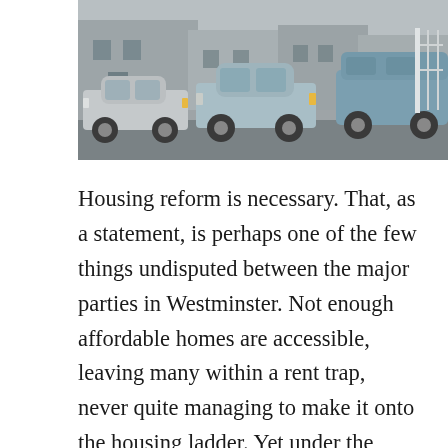[Figure (photo): Street scene showing three cars parked in front of terraced houses. Cars from left to right: a silver/grey hatchback, a light blue saloon, and a blue estate/MPV partially visible on the right. The houses behind appear to be typical British terraced housing with steps visible.]
Housing reform is necessary. That, as a statement, is perhaps one of the few things undisputed between the major parties in Westminster. Not enough affordable homes are accessible, leaving many within a rent trap, never quite managing to make it onto the housing ladder. Yet under the surface issue of getting the next generation onto the housing ladder lies an issue of greater concern. If left unchecked, the imbalance within the housing market, coupled with long-time economic woe for lenders, could be Britain's next ticking time bomb